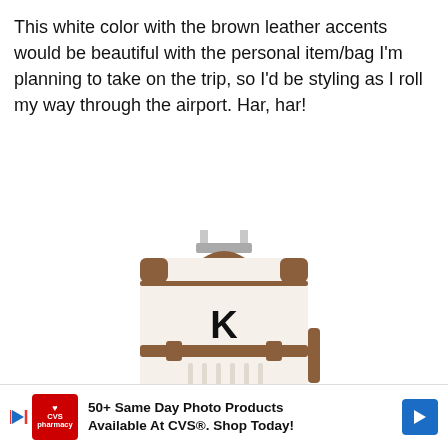This white color with the brown leather accents would be beautiful with the personal item/bag I'm planning to take on the trip, so I'd be styling as I roll my way through the airport. Har, har!
[Figure (photo): White hardshell luggage suitcase with brown leather accents, a silver extendable handle topped with a brown leather grip, and a monogram letter K on the front. The suitcase has decorative brown leather straps and corner guards.]
50+ Same Day Photo Products Available At CVS®. Shop Today!